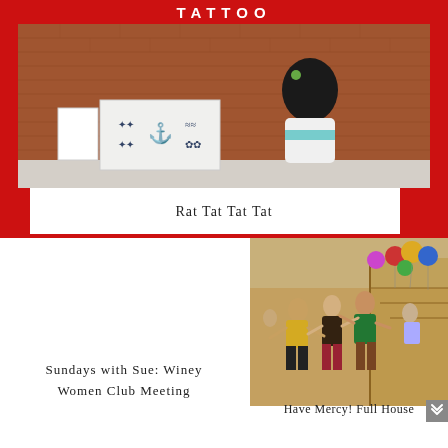[Figure (photo): Child standing at a red-bordered tattoo booth with brick wall background, showing tattoo design cards]
Rat Tat Tat Tat
Sundays with Sue: Winey Women Club Meeting
[Figure (photo): Children dancing at a party with colorful balloons at what appears to be a Full House themed party]
Have Mercy! Full House